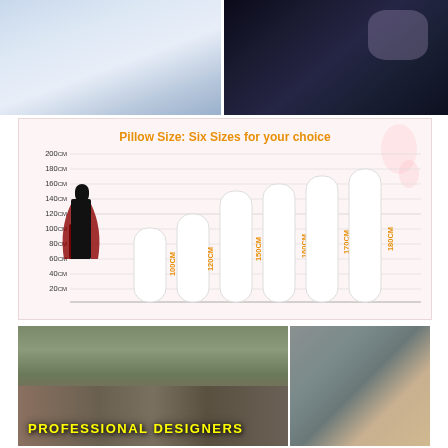[Figure (photo): Two product photos side by side: left shows a light blue/white anime pillow cover, right shows a dark anime character illustration on a pillow cover]
[Figure (bar-chart): Pillow Size: Six Sizes for your choice]
[Figure (photo): Workshop photo showing professional designers working at computers with anime artwork visible on screens and walls. Text overlay reads PROFESSIONAL DESIGNERS]